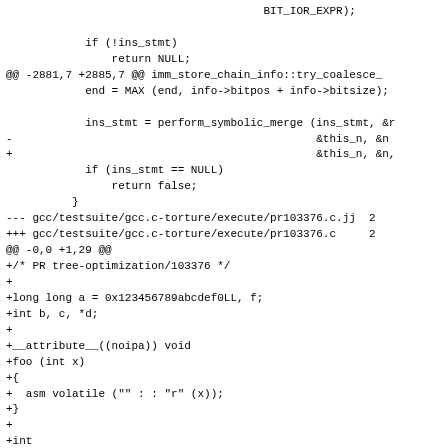Diff/patch code fragment showing changes to GCC source files including imm_store_chain_info::try_coalesce and pr103376.c test file